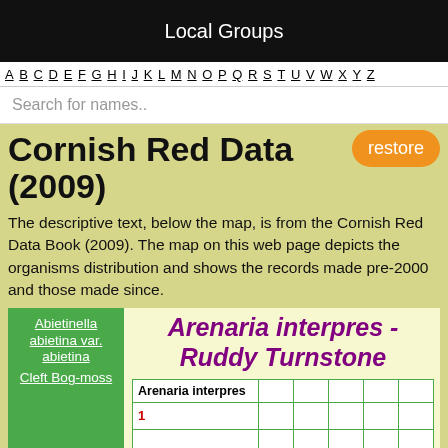Local Groups
A B C D E F G H I J K L M N O P Q R S T U V W X Y Z
Search for names..
Cornish Red Data (2009)
restore
The descriptive text, below the map, is from the Cornish Red Data Book (2009). The map on this web page depicts the organisms distribution and shows the records made pre-2000 and those made since.
Abietinella abietina var. abietina
Cleft Bog-moss
Arenaria interpres - Ruddy Turnstone
| Arenaria interpres |  |  |  |  |  |
| --- | --- | --- | --- | --- | --- |
| 1 |  |  |  |  |  |
|  |  |  |  |  |  |